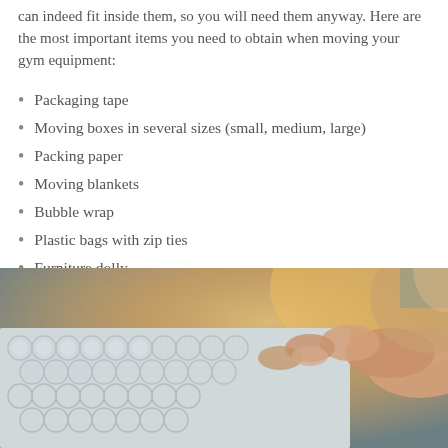can indeed fit inside them, so you will need them anyway. Here are the most important items you need to obtain when moving your gym equipment:
Packaging tape
Moving boxes in several sizes (small, medium, large)
Packing paper
Moving blankets
Bubble wrap
Plastic bags with zip ties
Furniture dolly
Tie-down straps
[Figure (photo): Close-up photo of hands touching or holding bubble wrap, with warm background tones.]